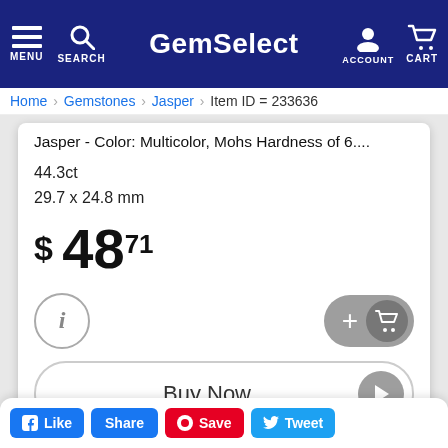GemSelect — MENU SEARCH ACCOUNT CART
Home > Gemstones > Jasper > Item ID = 233636
Jasper - Color: Multicolor, Mohs Hardness of 6....
44.3ct
29.7 x 24.8 mm
$ 48 71
Buy Now
Like  Share  Save  Tweet